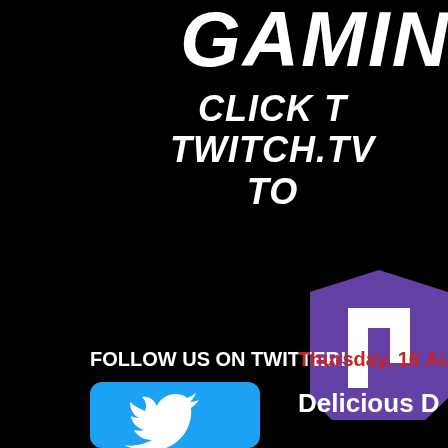GAMIN
CLICK T
TWITCH.TV
TO
[Figure (logo): Twitch.tv purple logo icon — shield shape with stylized 't' in white on purple/violet background, partially cropped at right edge]
FOLLOW US ON TWITTER!
Thursday, 16 Au
[Figure (logo): Twitter bird logo — white bird on rounded-square teal/sky-blue background]
Delicious D